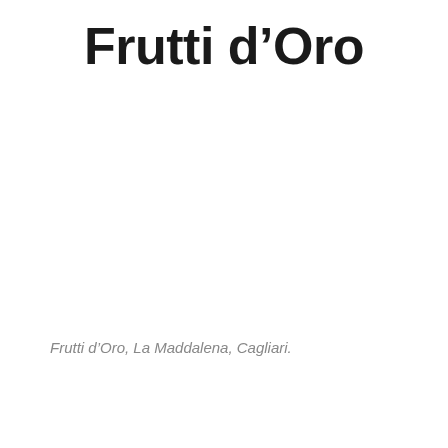Frutti d’Oro
Frutti d’Oro, La Maddalena, Cagliari.